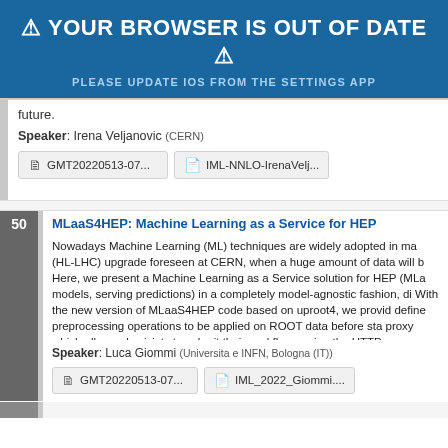⚠ YOUR BROWSER IS OUT OF DATE ⚠
PLEASE UPDATE IOS FROM THE SETTINGS APP
future.
Speaker: Irena Veljanovic (CERN)
GMT20220513-07...   IML-NNLO-IrenaVelj...
MLaaS4HEP: Machine Learning as a Service for HEP
Nowadays Machine Learning (ML) techniques are widely adopted in ma (HL-LHC) upgrade foreseen at CERN, when a huge amount of data will b Here, we present a Machine Learning as a Service solution for HEP (MLa models, serving predictions) in a completely model-agnostic fashion, di With the new version of MLaaS4HEP code based on uproot4, we provid define preprocessing operations to be applied on ROOT data before sta proxy which allows physicists to submit their workflows using the HTTP
Speaker: Luca Giommi (Universita e INFN, Bologna (IT))
GMT20220513-07...   IML_2022_Giommi....